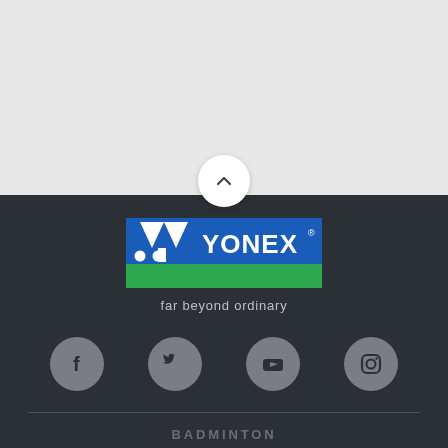[Figure (logo): Yonex logo with blue and green background, white Y symbol and YONEX text]
far beyond ordinary
[Figure (infographic): Four social media icons: Facebook, Twitter, YouTube, Instagram — grey circles on dark background]
BADMINTON